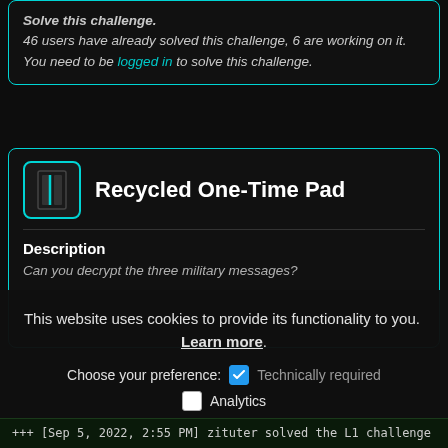Solve this challenge.
46 users have already solved this challenge, 6 are working on it.
You need to be logged in to solve this challenge.
Recycled One-Time Pad
Description
Can you decrypt the three military messages?
This website uses cookies to provide its functionality to you. Learn more.
Choose your preference: ✔ Technically required
☐ Analytics
+++ [Sep 5, 2022, 2:55 PM] zituter solved the L1 challenge